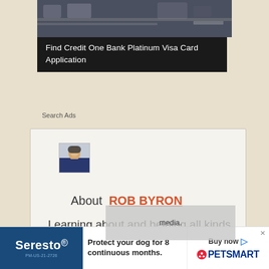[Figure (screenshot): Top banner ad image showing credit card themed background with dark overlay and text 'Find Credit One Bank Platinum Visa Card Application']
Find Credit One Bank Platinum Visa Card Application
Search Ads
[Figure (photo): Small profile photo thumbnail of a person wearing a hat and dark blue top]
About  ROB BYRON
Learning about and helping all kinds of animals has been
[Figure (screenshot): Popup overlay with text about social media]
[Figure (screenshot): Bottom banner advertisement for Seresto dog protection product, showing Seresto logo, text 'Protect your dog for 8 continuous months.', Buy now button, and PetSmart logo]